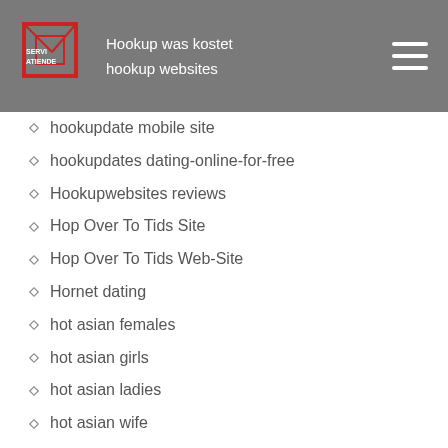Hookup was kostet | hookup websites
hookupdate mobile site
hookupdates dating-online-for-free
Hookupwebsites reviews
Hop Over To Tids Site
Hop Over To Tids Web-Site
Hornet dating
hot asian females
hot asian girls
hot asian ladies
hot asian wife
hot asian wives
Hot Eastern European Brides
Hot Mail Women
hot old asian women
HOT OR NOT best hookup apps